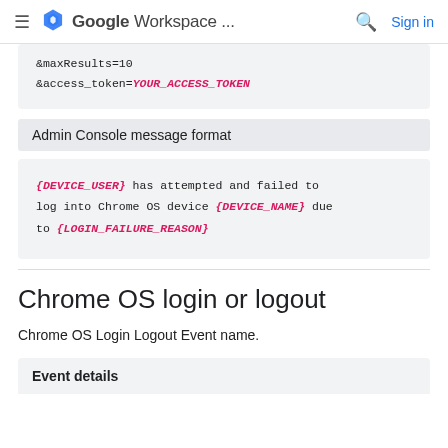Google Workspace ...  Sign in
&maxResults=10
&access_token=YOUR_ACCESS_TOKEN
Admin Console message format
{DEVICE_USER} has attempted and failed to log into Chrome OS device {DEVICE_NAME} due to {LOGIN_FAILURE_REASON}
Chrome OS login or logout
Chrome OS Login Logout Event name.
Event details